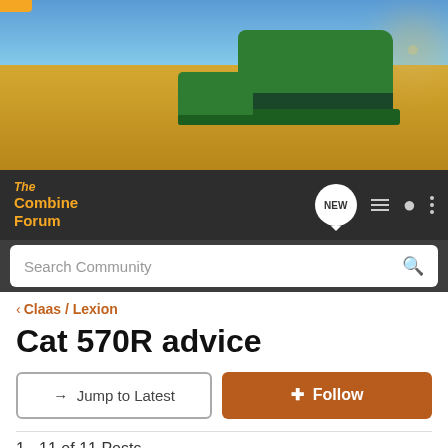[Figure (photo): Header banner image showing green combine harvesters working in a golden wheat field with dust in the background and blue sky above]
The Combine Forum | NEW | navigation icons
Search Community
< Claas / Lexion
Cat 570R advice
→ Jump to Latest
+ Follow
1 - 11 of 11 Posts
rauseran · Registered
Joined Jul 7, 2010 · 110 Posts